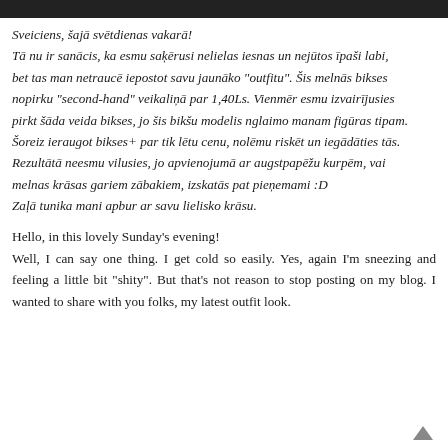Sveiciens, šajā svētdienas vakarā! Tā nu ir sanācis, ka esmu saķērusi nelielas iesnas un nejūtos īpaši labi, bet tas man netraucē iepostot savu jaunāko "outfitu". Šis melnās bikses nopirku "second-hand" veikaliņā par 1,40Ls. Vienmēr esmu izvairījusies pirkt šāda veida bikses, jo šis bikšu modelis nglaimo manam figūras tipam. Šoreiz ieraugot bikses+ par tik lētu cenu, nolēmu riskēt un iegādāties tās. Rezultātā neesmu vilusies, jo apvienojumā ar augstpapēžu kurpēm, vai melnas krāsas gariem zābakiem, izskatās pat pieņemami :D Zaļā tunika mani apbur ar savu lielisko krāsu.
Hello, in this lovely Sunday's evening! Well, I can say one thing. I get cold so easily. Yes, again I'm sneezing and feeling a little bit "shity". But that's not reason to stop posting on my blog. I wanted to share with you folks, my latest outfit look.